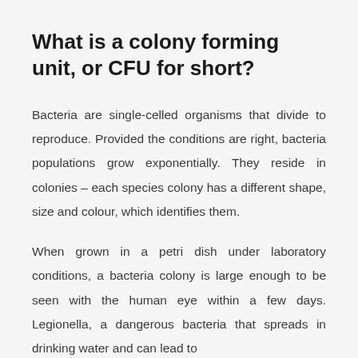What is a colony forming unit, or CFU for short?
Bacteria are single-celled organisms that divide to reproduce. Provided the conditions are right, bacteria populations grow exponentially. They reside in colonies – each species colony has a different shape, size and colour, which identifies them.
When grown in a petri dish under laboratory conditions, a bacteria colony is large enough to be seen with the human eye within a few days. Legionella, a dangerous bacteria that spreads in drinking water and can lead to